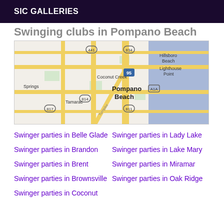SIC GALLERIES
Swinging clubs in Pompano Beach
[Figure (map): Map showing Pompano Beach area in Florida, including surrounding areas: Coconut Creek, Tamarac, Springs, Lighthouse Point, Hillsboro Beach, with roads 441, 834, 95, A1A, 814, 817, 811 visible]
Swinger parties in Belle Glade
Swinger parties in Lady Lake
Swinger parties in Brandon
Swinger parties in Lake Mary
Swinger parties in Brent
Swinger parties in Miramar
Swinger parties in Brownsville
Swinger parties in Oak Ridge
Swinger parties in Coconut